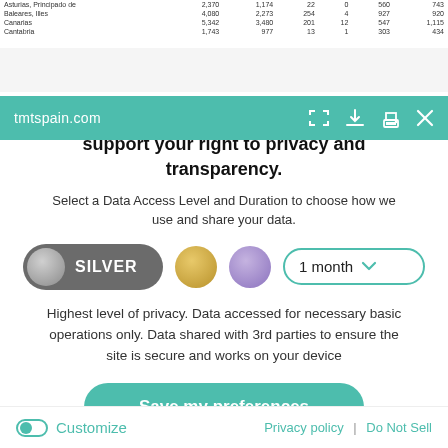| Asturias, Principado de | 2,370 | 1,174 | 22 | 0 | 560 | 743 |
| Baleares, Illes | 4,080 | 2,273 | 254 | 4 | 927 | 920 |
| Canarias | 5,342 | 3,480 | 201 | 12 | 547 | 1,115 |
| Cantabria | 1,743 | 977 | 13 | 1 | 303 | 434 |
tmtspain.com
We believe your data is your property and support your right to privacy and transparency.
Select a Data Access Level and Duration to choose how we use and share your data.
[Figure (infographic): Privacy level selector showing three circular options: Silver (active/selected, dark grey toggle button with silver circle and SILVER label), Gold (yellow/gold circle), Purple (purple circle). A duration dropdown shows '1 month' with a teal chevron.]
Highest level of privacy. Data accessed for necessary basic operations only. Data shared with 3rd parties to ensure the site is secure and works on your device
Save my preferences
Customize   Privacy policy  |  Do Not Sell